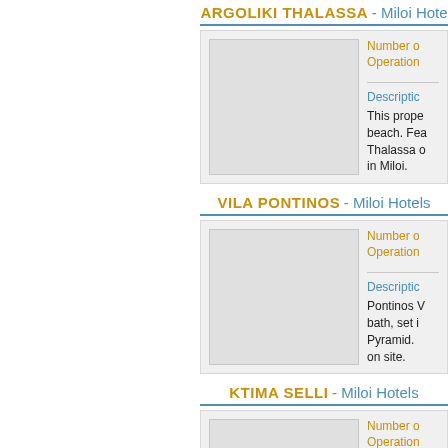ARGOLIKI THALASSA - Miloi Hotels
[Figure (photo): Hotel photo placeholder for Argoliki Thalassa]
Number o Operations
Descriptio
This prope beach. Fea Thalassa o in Miloi.
VILA PONTINOS - Miloi Hotels
[Figure (photo): Hotel photo placeholder for Vila Pontinos]
Number o Operations
Descriptio
Pontinos V bath, set i Pyramid. on site.
KTIMA SELLI - Miloi Hotels
[Figure (photo): Hotel photo placeholder for Ktima Selli]
Number o Operations
Descriptio
The Vill